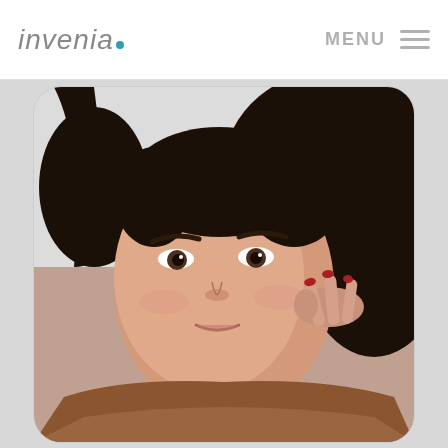invenia. MENU
[Figure (photo): Portrait photo of a young woman with dark hair, wearing a brown knit sweater, with her hand raised near her cheek, smiling slightly. Displayed in a rounded rectangle frame on a light gray background.]